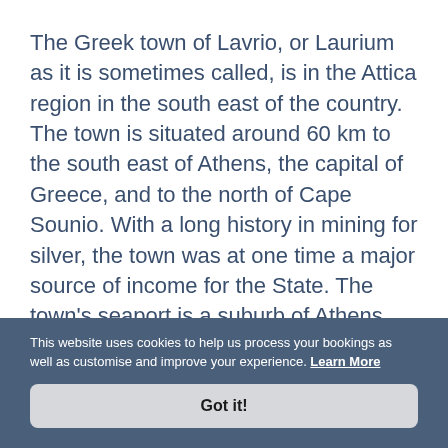The Greek town of Lavrio, or Laurium as it is sometimes called, is in the Attica region in the south east of the country. The town is situated around 60 km to the south east of Athens, the capital of Greece, and to the north of Cape Sounio. With a long history in mining for silver, the town was at one time a major source of income for the State. The town's seaport is a suburb of Athens but is of lesser importance than the port of Piraeus. The town's residential area is laid out in a grid system with port at the town's heart. It is now connected to the new Eleftherios
This website uses cookies to help us process your bookings as well as customise and improve your experience. Learn More
Got it!